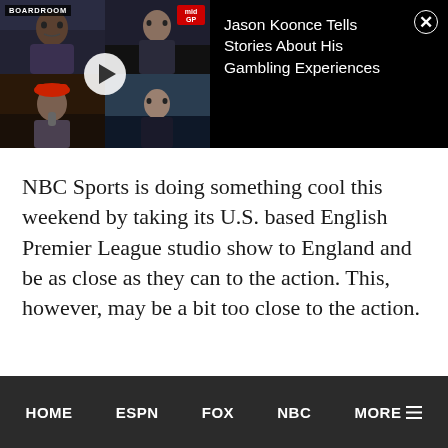[Figure (screenshot): Video thumbnail showing four people in a 2x2 grid with a play button overlay. Top-left has a BOARDROOM label. Top-right has a GP OFFICE logo. Title reads: Jason Koonce Tells Stories About His Gambling Experiences. Close (X) button in top-right corner.]
NBC Sports is doing something cool this weekend by taking its U.S. based English Premier League studio show to England and be as close as they can to the action. This, however, may be a bit too close to the action.
HOME   ESPN   FOX   NBC   MORE